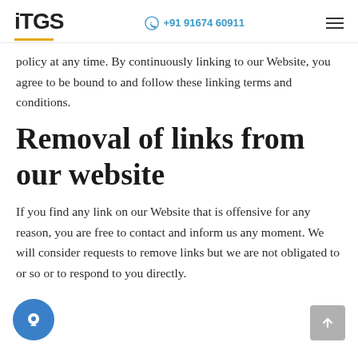iTGS | +91 91674 60911
policy at any time. By continuously linking to our Website, you agree to be bound to and follow these linking terms and conditions.
Removal of links from our website
If you find any link on our Website that is offensive for any reason, you are free to contact and inform us any moment. We will consider requests to remove links but we are not obligated to or so or to respond to you directly.